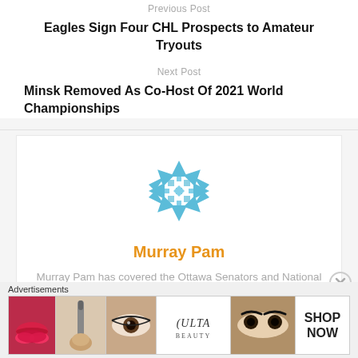Previous Post
Eagles Sign Four CHL Prospects to Amateur Tryouts
Next Post
Minsk Removed As Co-Host Of 2021 World Championships
[Figure (logo): Blue snowflake/geometric logo for Murray Pam]
Murray Pam
Murray Pam has covered the Ottawa Senators and National Hockey League since 2006 for The Hockey
Advertisements
[Figure (photo): Advertisement banner showing beauty/makeup images and ULTA logo with SHOP NOW text]